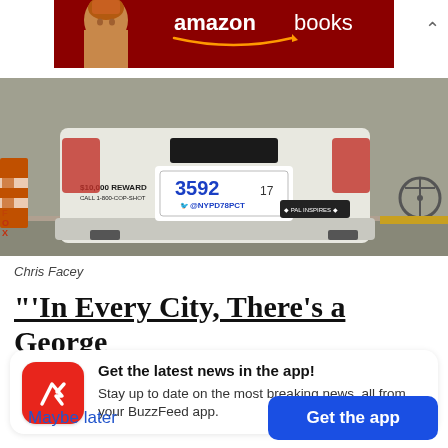[Figure (photo): Amazon Books advertisement banner showing a woman with a red background and Amazon Books logo in white text]
[Figure (photo): Rear view of a white NYPD police SUV showing license plate 3592, $10,000 REWARD sticker, Twitter handle @NYPD78PCT, and PAL INSPIRES sticker]
Chris Facey
"'In Every City, There's a George
Get the latest news in the app! Stay up to date on the most breaking news, all from your BuzzFeed app.
Maybe later
Get the app